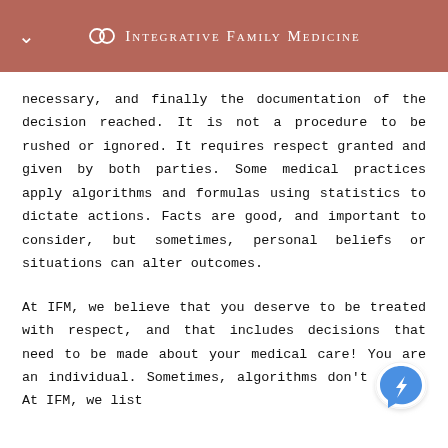Integrative Family Medicine
necessary, and finally the documentation of the decision reached. It is not a procedure to be rushed or ignored. It requires respect granted and given by both parties. Some medical practices apply algorithms and formulas using statistics to dictate actions. Facts are good, and important to consider, but sometimes, personal beliefs or situations can alter outcomes.
At IFM, we believe that you deserve to be treated with respect, and that includes decisions that need to be made about your medical care! You are an individual. Sometimes, algorithms don't apply. At IFM, we list
[Figure (logo): Facebook Messenger chat bubble icon, blue lightning bolt on white circular bubble]